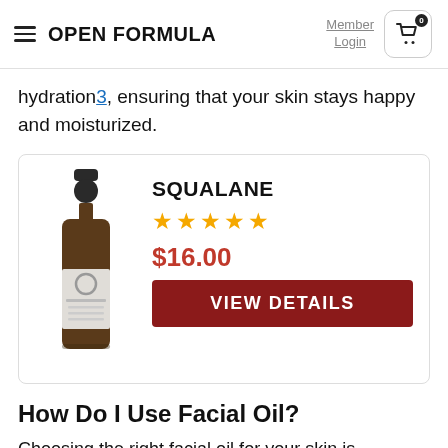OPEN FORMULA | Member Login | Cart 0
hydration3, ensuring that your skin stays happy and moisturized.
[Figure (photo): Product card showing a brown dropper bottle of Squalane with an 'O' label, product name SQUALANE, 5-star rating, price $16.00, and a VIEW DETAILS button in dark red.]
How Do I Use Facial Oil?
Choosing the right facial oil for your skin is